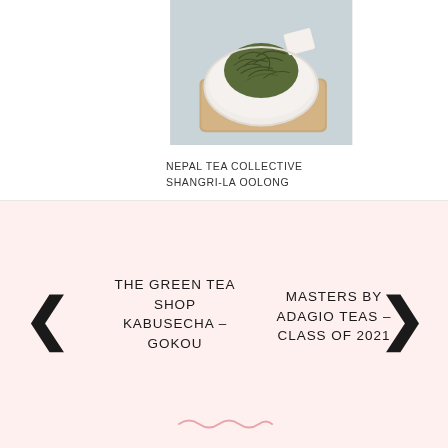[Figure (photo): Overhead photo of loose green/oolong tea leaves piled on a white ceramic dish placed on a wooden board, against a light blue-grey marble surface]
NEPAL TEA COLLECTIVE
SHANGRI-LA OOLONG
THE GREEN TEA SHOP
KABUSECHA –
GOKOU
MASTERS BY
ADAGIO TEAS –
CLASS OF 2021